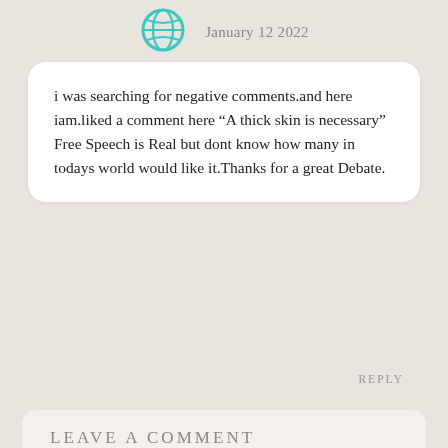[Figure (illustration): Teal globe/world icon at top left]
January 12 2022
i was searching for negative comments.and here iam.liked a comment here “A thick skin is necessary”
Free Speech is Real but dont know how many in todays world would like it.Thanks for a great Debate.
REPLY
LEAVE A COMMENT
CANCEL REPLY
Name *